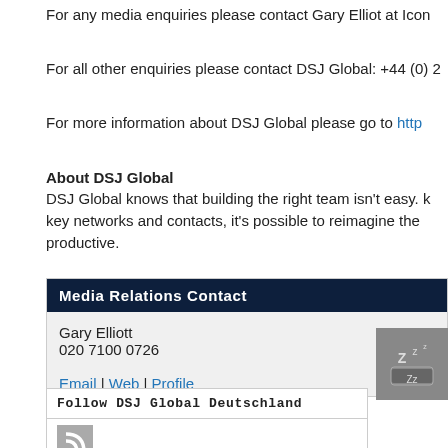For any media enquiries please contact Gary Elliot at Icon
For all other enquiries please contact DSJ Global: +44 (0) 2
For more information about DSJ Global please go to http
About DSJ Global
DSJ Global knows that building the right team isn't easy. key networks and contacts, it's possible to reimagine the productive.
| Media Relations Contact |
| --- |
| Gary Elliott
020 7100 0726

Email | Web | Profile |
Follow DSJ Global Deutschland
[Figure (logo): RSS feed icon (grey square with RSS symbol)]